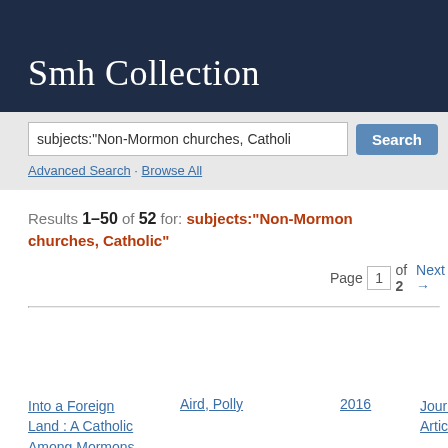Smh Collection
subjects:"Non-Mormon churches, Catholi
Advanced Search · Browse All
Results 1–50 of 52 for: subjects:"Non-Mormon churches, Catholic"  Page 1 of 2  Next →
| Title | Authors ∧ × | Publication Date ∧ × | Publication Type |
| --- | --- | --- | --- |
| Into a Foreign Land : A Catholic Among Mormons | Aird, Polly | 2016 | Journal Article |